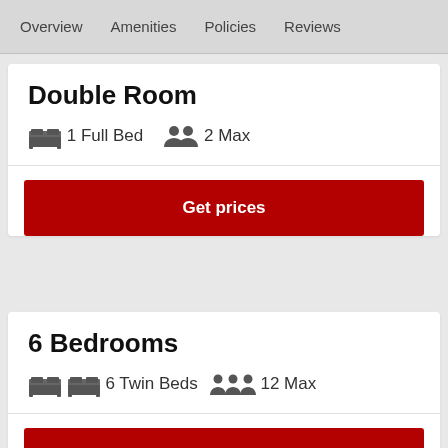Overview   Amenities   Policies   Reviews
Double Room
1 Full Bed   2 Max
Get prices
6 Bedrooms
6 Twin Beds   12 Max
CHECK AVAILABILITY